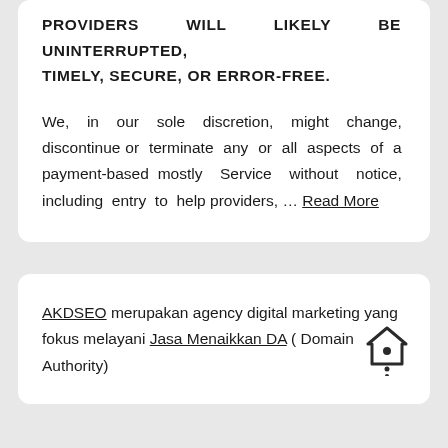PROVIDERS WILL LIKELY BE UNINTERRUPTED, TIMELY, SECURE, OR ERROR-FREE.
We, in our sole discretion, might change, discontinue or terminate any or all aspects of a payment-based mostly Service without notice, including entry to help providers, … Read More
AKDSEO merupakan agency digital marketing yang fokus melayani Jasa Menaikkan DA ( Domain Authority)